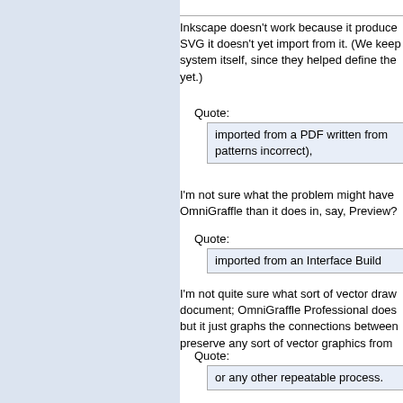Inkscape doesn't work because it produce SVG it doesn't yet import from it. (We keep system itself, since they helped define the yet.)
Quote:
imported from a PDF written from patterns incorrect),
I'm not sure what the problem might have OmniGraffle than it does in, say, Preview?
Quote:
imported from an Interface Build
I'm not quite sure what sort of vector draw document; OmniGraffle Professional does but it just graphs the connections between preserve any sort of vector graphics from
Quote:
or any other repeatable process.